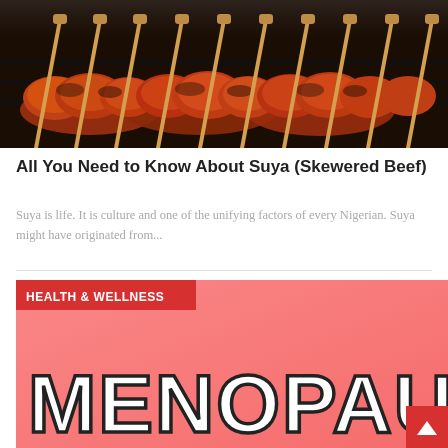[Figure (photo): Skewered meat (suya) on a grill with wooden skewers, charred and marinated beef pieces cooking over charcoal/grill]
All You Need to Know About Suya (Skewered Beef)
Suya is life. It is culture and one of the unifying factors of every Nigerian. Suya might have originated from...
[Figure (illustration): Pink/salmon colored card with HEALTH & WELLNESS red badge label and large handwritten-style MENOPAUSE text in white with black outline on pink background. Red back-to-top arrow button in bottom right corner.]